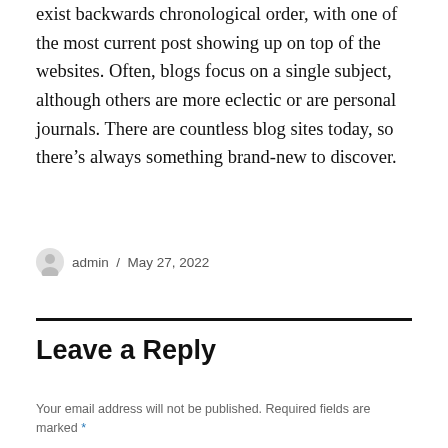exist backwards chronological order, with one of the most current post showing up on top of the websites. Often, blogs focus on a single subject, although others are more eclectic or are personal journals. There are countless blog sites today, so there's always something brand-new to discover.
admin / May 27, 2022
Leave a Reply
Your email address will not be published. Required fields are marked *